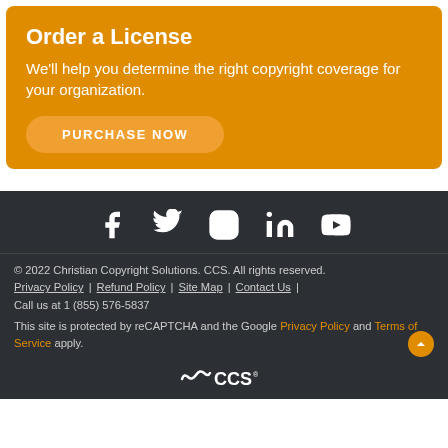Order a License
We'll help you determine the right copyright coverage for your organization.
PURCHASE NOW
[Figure (illustration): Row of social media icons: Facebook, Twitter, Instagram, LinkedIn, YouTube]
© 2022 Christian Copyright Solutions. CCS. All rights reserved. Privacy Policy | Refund Policy | Site Map | Contact Us | Call us at 1 (855) 576-5837 This site is protected by reCAPTCHA and the Google Privacy Policy and Terms of Service apply.
[Figure (logo): CCS logo at bottom of footer]